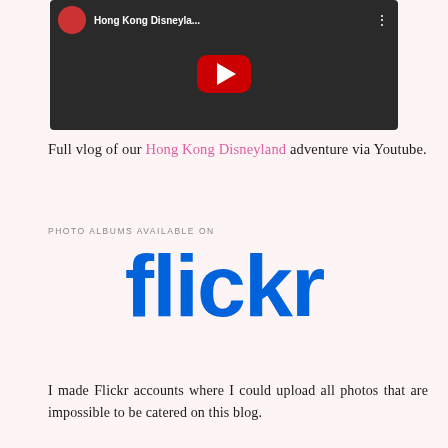[Figure (screenshot): YouTube video thumbnail showing Hong Kong Disneyland vlog with red play button overlay and title bar]
Full vlog of our Hong Kong Disneyland adventure via Youtube.
PHOTO ALBUMS AVAILABLE ON
[Figure (logo): Flickr logo in large bold text — 'flickr' with blue letters for 'flick' and pink letter 'r']
I made Flickr accounts where I could upload all photos that are impossible to be catered on this blog.